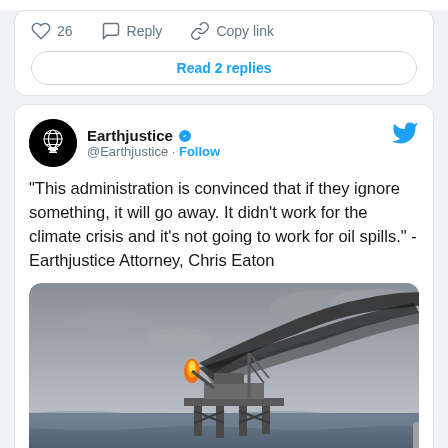[Figure (screenshot): Twitter action bar showing heart icon with 26 likes, Reply button, and Copy link button]
Read 2 replies
[Figure (screenshot): Earthjustice Twitter profile avatar - black circle with globe and pillar logo]
Earthjustice @Earthjustice · Follow
“This administration is convinced that if they ignore something, it will go away. It didn’t work for the climate crisis and it’s not going to work for oil spills.” - Earthjustice Attorney, Chris Eaton
[Figure (photo): Oil rig at sea with a flaming gas flare shooting orange fire and black smoke billowing into a cloudy grey sky]